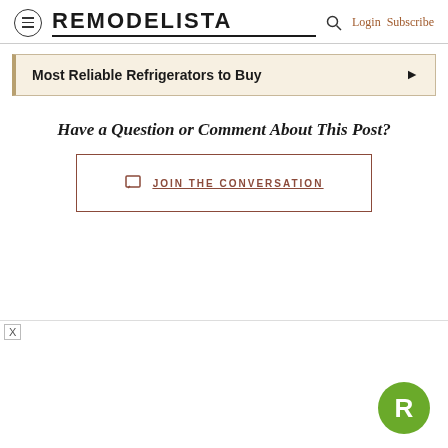REMODELISTA — Login Subscribe
Most Reliable Refrigerators to Buy ▶
Have a Question or Comment About This Post?
JOIN THE CONVERSATION
[Figure (logo): Remodelista green circular badge with white R letter]